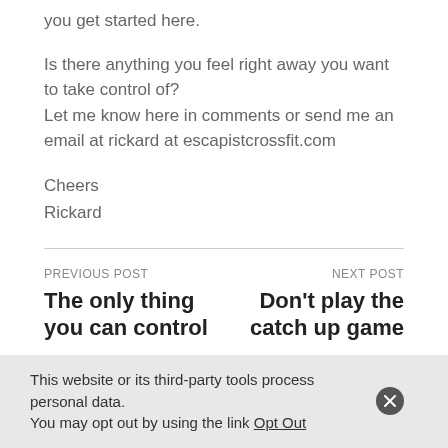you get started here.
Is there anything you feel right away you want to take control of?
Let me know here in comments or send me an email at rickard at escapistcrossfit.com
Cheers
Rickard
PREVIOUS POST
The only thing you can control
NEXT POST
Don't play the catch up game
This website or its third-party tools process personal data. You may opt out by using the link Opt Out